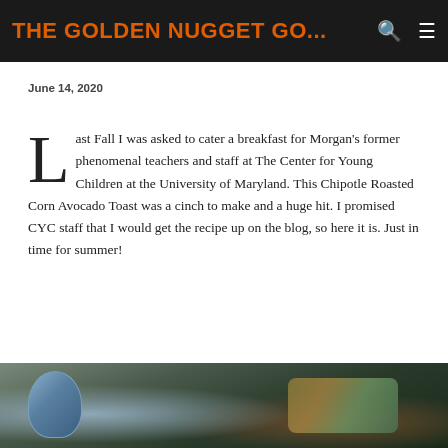THE GOLDEN NUGGET GO...
June 14, 2020
Last Fall I was asked to cater a breakfast for Morgan's former phenomenal teachers and staff at The Center for Young Children at the University of Maryland. This Chipotle Roasted Corn Avocado Toast was a cinch to make and a huge hit. I promised CYC staff that I would get the recipe up on the blog, so here it is. Just in time for summer!
[Figure (photo): Photograph showing a blue patterned bowl and a wooden board with avocado toast topped with roasted corn and colorful garnishes, on a dark background.]